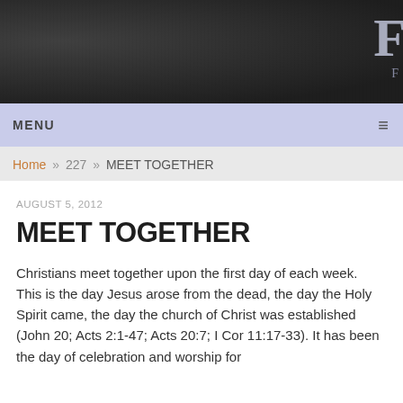[Figure (other): Dark textured header banner with partial logo/text visible at upper right corner showing large letter and subtitle]
MENU ≡
Home » 227 » MEET TOGETHER
AUGUST 5, 2012
MEET TOGETHER
Christians meet together upon the first day of each week. This is the day Jesus arose from the dead, the day the Holy Spirit came, the day the church of Christ was established (John 20; Acts 2:1-47; Acts 20:7; I Cor 11:17-33). It has been the day of celebration and worship for